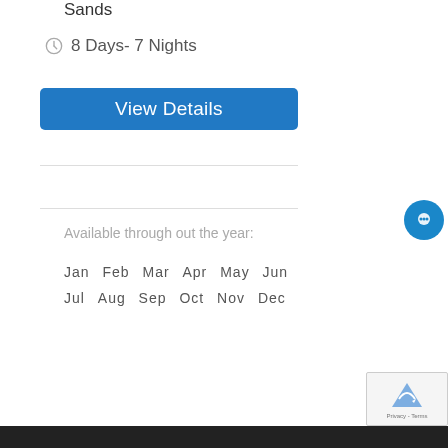Sands
8 Days- 7 Nights
View Details
Available through out the year:
Jan  Feb  Mar  Apr  May  Jun
Jul  Aug  Sep  Oct  Nov  Dec
Privacy - Terms